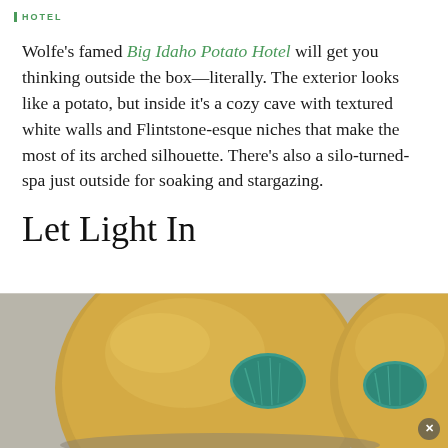HOTEL
Wolfe's famed Big Idaho Potato Hotel will get you thinking outside the box—literally. The exterior looks like a potato, but inside it's a cozy cave with textured white walls and Flintstone-esque niches that make the most of its arched silhouette. There's also a silo-turned-spa just outside for soaking and stargazing.
Let Light In
[Figure (photo): Close-up photo of golden/brass decorative objects with turquoise/teal inlaid panels showing nature imagery, on a gray background]